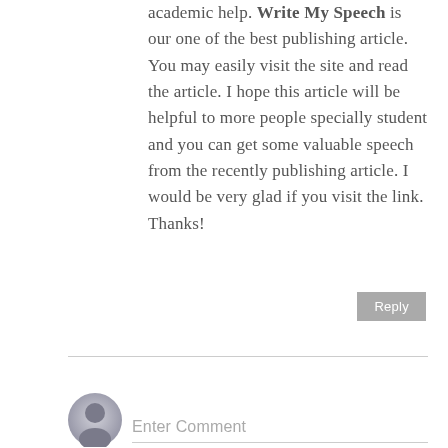academic help. Write My Speech is our one of the best publishing article. You may easily visit the site and read the article. I hope this article will be helpful to more people specially student and you can get some valuable speech from the recently publishing article. I would be very glad if you visit the link. Thanks!
Reply
Enter Comment